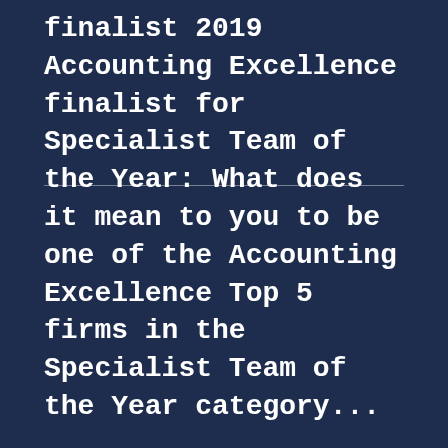finalist 2019 Accounting Excellence finalist for Specialist Team of the Year: What does it mean to you to be one of the Accounting Excellence Top 5 firms in the Specialist Team of the Year category...